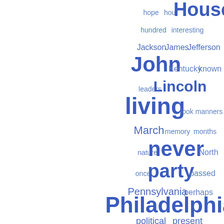[Figure (infographic): Word cloud in blue tones showing political/historical terms. Larger words (higher frequency) include: Philadelphia, President, Senator, living, never, party, John, House, Lincoln. Medium words: Pennsylvania, March, perhaps, passed, political, present, Representative, Republican, Secretary, seemed, sent, side, nature, North, once, memory, months, manners, look, leaders, Kentucky, known, Jackson, James, Jefferson, hope, hour, hundred, interesting. All text is rendered in shades of blue on white background.]